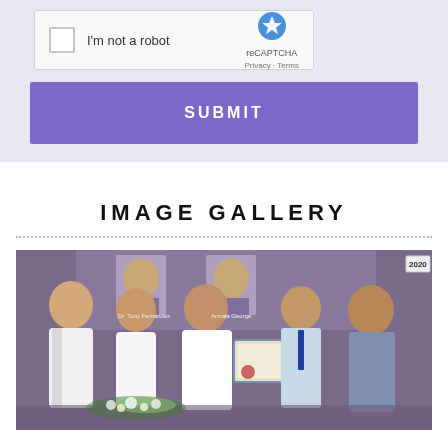[Figure (screenshot): reCAPTCHA widget with checkbox labeled 'I'm not a robot' and reCAPTCHA logo with Privacy and Terms links]
SUBMIT
IMAGE GALLERY
[Figure (photo): Group photo at an award ceremony showing several men in white traditional attire, one presenting a framed certificate to another, with event backdrop showing '2020' and portrait photographs]